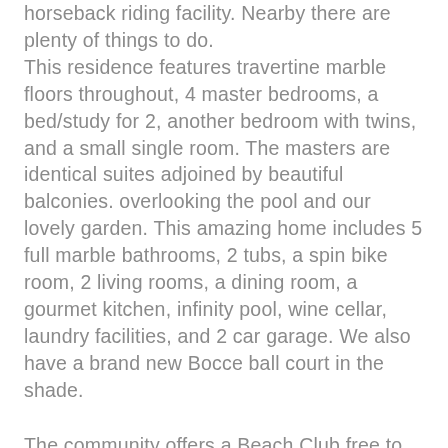horseback riding facility. Nearby there are plenty of things to do. This residence features travertine marble floors throughout, 4 master bedrooms, a bed/study for 2, another bedroom with twins, and a small single room. The masters are identical suites adjoined by beautiful balconies. overlooking the pool and our lovely garden. This amazing home includes 5 full marble bathrooms, 2 tubs, a spin bike room, 2 living rooms, a dining room, a gourmet kitchen, infinity pool, wine cellar, laundry facilities, and 2 car garage. We also have a brand new Bocce ball court in the shade.
The community offers a Beach Club free to kids 12 and under, adults free with $10 drink/food purchase, offers